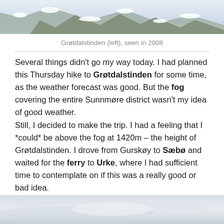[Figure (photo): Snow-covered mountain scene, Grøtdalstinden area, partial view of rocky snowy peaks]
Grøtdalstinden (left), seen in 2008
Several things didn't go my way today. I had planned this Thursday hike to Grøtdalstinden for some time, as the weather forecast was good. But the fog covering the entire Sunnmøre district wasn't my idea of good weather.
Still, I decided to make the trip. I had a feeling that I *could* be above the fog at 1420m – the height of Grøtdalstinden. I drove from Gurskøy to Sæbø and waited for the ferry to Urke, where I had sufficient time to contemplate on if this was a really good or bad idea.
[Figure (photo): Foggy/cloudy sky scene, grey overcast sky with misty horizon]